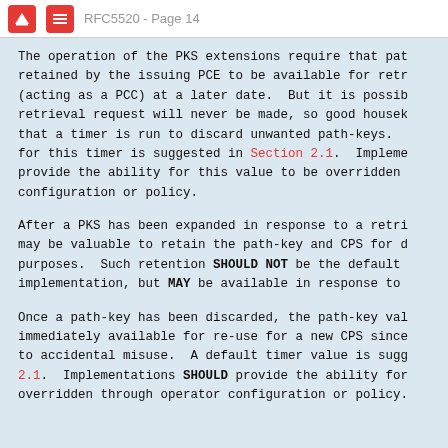RFC5520 - Page 14
The operation of the PKS extensions require that pat retained by the issuing PCE to be available for retr (acting as a PCC) at a later date.  But it is possib retrieval request will never be made, so good housek that a timer is run to discard unwanted path-keys. for this timer is suggested in Section 2.1.  Impleme provide the ability for this value to be overridden configuration or policy.
After a PKS has been expanded in response to a retri may be valuable to retain the path-key and CPS for d purposes.  Such retention SHOULD NOT be the default implementation, but MAY be available in response to
Once a path-key has been discarded, the path-key val immediately available for re-use for a new CPS since to accidental misuse.  A default timer value is sugg 2.1.  Implementations SHOULD provide the ability for overridden through operator configuration or policy.